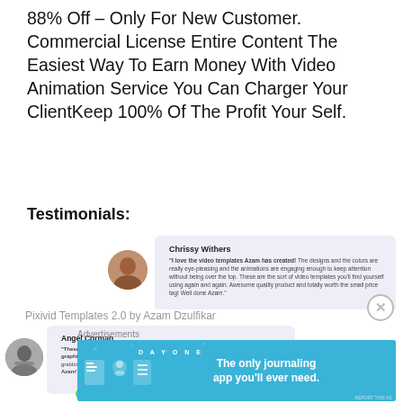88% Off – Only For New Customer. Commercial License Entire Content The Easiest Way To Earn Money With Video Animation Service You Can Charger Your ClientKeep 100% Of The Profit Your Self.
Testimonials:
[Figure (other): Testimonial card from Chrissy Withers with avatar photo and review text: 'I love the video templates Azam has created! The designs and the colors are really eye-pleasing and the animations are engaging enough to keep attention without being over the top. These are the sort of video templates you'll find yourself using again and again. Awesome quality product and totally worth the small price tag! Well done Azam.']
[Figure (other): Testimonial card from Angel Corman with avatar photo and review text: 'These templates have the power to turn any regular Powerpoint user into a motion graphics super hero! If you want to amaze your clients and customers with attention-grabbing, modern-looking and beautifully designed video (without paying an arm and a leg) Azam's got your back! 100% Reeeommended.']
Pixivid Templates 2.0 by Azam Dzulfikar
Advertisements
[Figure (screenshot): Advertisement banner for DayOne journaling app: 'The only journaling app you'll ever need.']